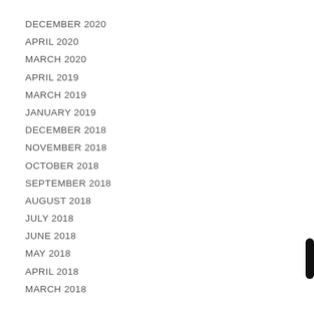DECEMBER 2020
APRIL 2020
MARCH 2020
APRIL 2019
MARCH 2019
JANUARY 2019
DECEMBER 2018
NOVEMBER 2018
OCTOBER 2018
SEPTEMBER 2018
AUGUST 2018
JULY 2018
JUNE 2018
MAY 2018
APRIL 2018
MARCH 2018